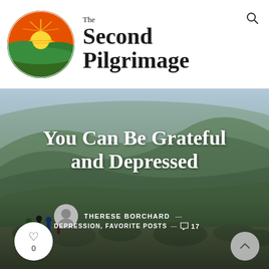[Figure (logo): The Second Pilgrimage circular logo with sun rising over green hills]
The Second Pilgrimage
[Figure (photo): Hikers walking along a trail through green rolling hills and scrubland]
You Can Be Grateful and Depressed
THERESE BORCHARD —
DEPRESSION, FAVORITE POSTS — 17
0